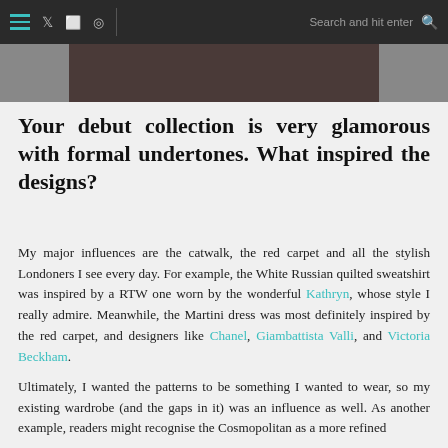≡  𝕏  ⌗  ⊕  |  Search and hit enter  🔍
[Figure (photo): Partial photo visible at top of content area, dark background with person visible]
Your debut collection is very glamorous with formal undertones. What inspired the designs?
My major influences are the catwalk, the red carpet and all the stylish Londoners I see every day. For example, the White Russian quilted sweatshirt was inspired by a RTW one worn by the wonderful Kathryn, whose style I really admire. Meanwhile, the Martini dress was most definitely inspired by the red carpet, and designers like Chanel, Giambattista Valli, and Victoria Beckham.
Ultimately, I wanted the patterns to be something I wanted to wear, so my existing wardrobe (and the gaps in it) was an influence as well. As another example, readers might recognise the Cosmopolitan as a more refined